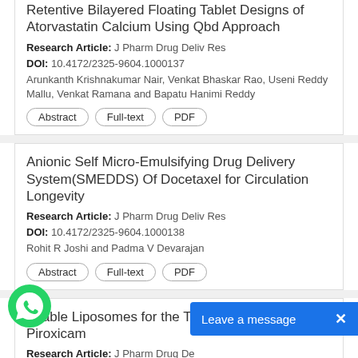Retentive Bilayered Floating Tablet Designs of Atorvastatin Calcium Using Qbd Approach
Research Article: J Pharm Drug Deliv Res
DOI: 10.4172/2325-9604.1000137
Arunkanth Krishnakumar Nair, Venkat Bhaskar Rao, Useni Reddy Mallu, Venkat Ramana and Bapatu Hanimi Reddy
Anionic Self Micro-Emulsifying Drug Delivery System(SMEDDS) Of Docetaxel for Circulation Longevity
Research Article: J Pharm Drug Deliv Res
DOI: 10.4172/2325-9604.1000138
Rohit R Joshi and Padma V Devarajan
rmable Liposomes for the Transdermal very of Piroxicam
Research Article: J Pharm Drug De
DOI: 10.4172/2325-9604.1000139